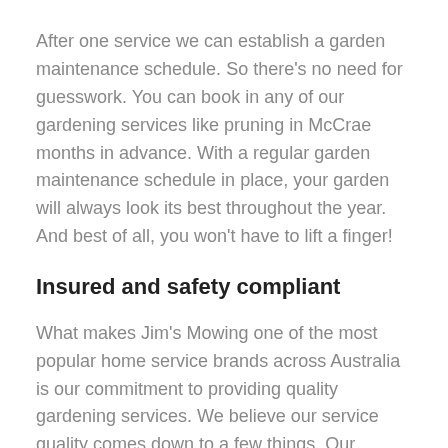After one service we can establish a garden maintenance schedule. So there's no need for guesswork. You can book in any of our gardening services like pruning in McCrae months in advance. With a regular garden maintenance schedule in place, your garden will always look its best throughout the year. And best of all, you won't have to lift a finger!
Insured and safety compliant
What makes Jim's Mowing one of the most popular home service brands across Australia is our commitment to providing quality gardening services. We believe our service quality comes down to a few things. Our gardening professionals are a big part of that. First, we provide them with the right training and credentials.